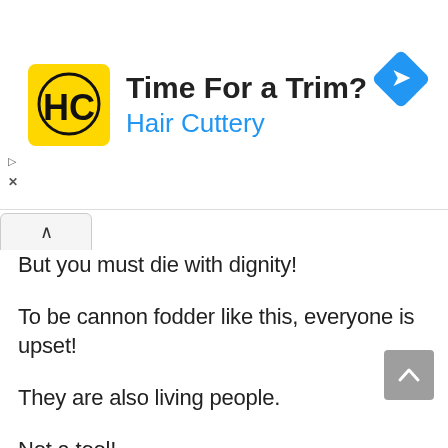[Figure (screenshot): Hair Cuttery advertisement banner with yellow logo showing 'HC' initials, text 'Time For a Trim?' in bold black and 'Hair Cuttery' in blue, with a blue navigation diamond icon on the right. Play and close icons on the left side.]
But you must die with dignity!
To be cannon fodder like this, everyone is upset!
They are also living people.
Not a tool!
Even if they are allowed to charge freely, no one wants to use them as cannon fodder.
But everyone dared not speak.